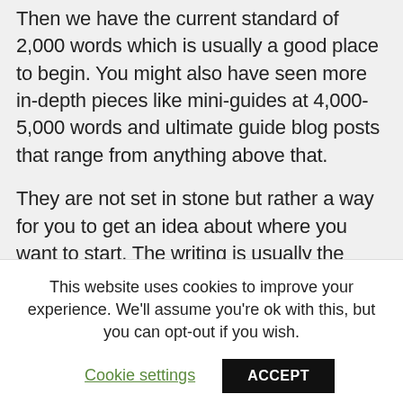Then we have the current standard of 2,000 words which is usually a good place to begin. You might also have seen more in-depth pieces like mini-guides at 4,000-5,000 words and ultimate guide blog posts that range from anything above that.
They are not set in stone but rather a way for you to get an idea about where you want to start. The writing is usually the easy part and the difference between a good, mediocre, and bad blog post is often found in the ideas and outlining stage.
This website uses cookies to improve your experience. We'll assume you're ok with this, but you can opt-out if you wish.
Cookie settings
ACCEPT